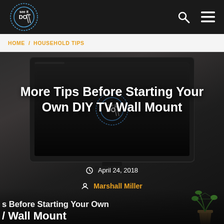see it DO it — navigation bar with search and menu icons
HOME / HOUSEHOLD TIPS
[Figure (photo): Hero image of a flatscreen TV mounted against a dark wall, with the 'see it DO it' logo watermark visible on the screen. Bottom of image shows partial text of article title and a potted plant in bottom right corner.]
More Tips Before Starting Your Own DIY TV Wall Mount
April 24, 2018
Marshall Miller